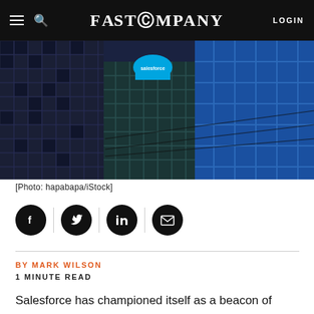FAST COMPANY  LOGIN
[Figure (photo): Photograph of Salesforce-branded building facade alongside other urban skyscrapers, showing blue glass and steel architecture with visible Salesforce cloud logo sign]
[Photo: hapabapa/iStock]
[Figure (infographic): Social share buttons row: Facebook, Twitter, LinkedIn, Email icons (black circles), separated by vertical divider lines]
BY MARK WILSON
1 MINUTE READ
Salesforce has championed itself as a beacon of